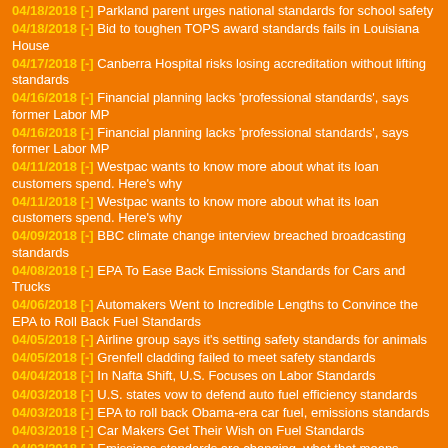04/18/2018 [-] Parkland parent urges national standards for school safety
04/18/2018 [-] Bid to toughen TOPS award standards fails in Louisiana House
04/17/2018 [-] Canberra Hospital risks losing accreditation without lifting standards
04/16/2018 [-] Financial planning lacks 'professional standards', says former Labor MP
04/16/2018 [-] Financial planning lacks 'professional standards', says former Labor MP
04/11/2018 [-] Westpac wants to know more about what its loan customers spend. Here's why
04/11/2018 [-] Westpac wants to know more about what its loan customers spend. Here's why
04/09/2018 [-] BBC climate change interview breached broadcasting standards
04/08/2018 [-] EPA To Ease Back Emissions Standards for Cars and Trucks
04/06/2018 [-] Automakers Went to Incredible Lengths to Convince the EPA to Roll Back Fuel Standards
04/05/2018 [-] Airline group says it's setting safety standards for animals
04/05/2018 [-] Grenfell cladding failed to meet safety standards
04/04/2018 [-] In Nafta Shift, U.S. Focuses on Labor Standards
04/03/2018 [-] U.S. states vow to defend auto fuel efficiency standards
04/03/2018 [-] EPA to roll back Obama-era car fuel, emissions standards
04/03/2018 [-] Car Makers Get Their Wish on Fuel Standards
04/03/2018 [-] Emissions standards are changing, what that means